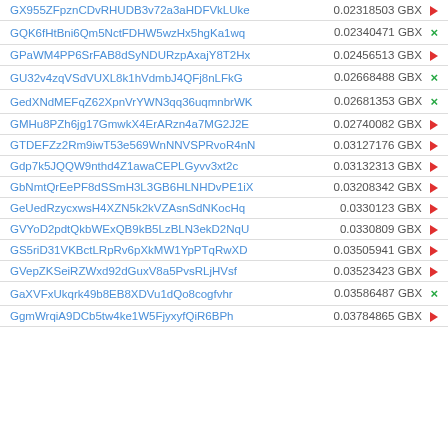| Address | Amount |
| --- | --- |
| GX955ZFpznCDvRHUDB3v72a3aHDFVkLUke | 0.02318503 GBX → |
| GQK6fHtBni6Qm5NctFDHW5wzHx5hgKa1wq | 0.02340471 GBX × |
| GPaWM4PP6SrFAB8dSyNDURzpAxajY8T2Hx | 0.02456513 GBX → |
| GU32v4zqVSdVUXL8k1hVdmbJ4QFj8nLFkG | 0.02668488 GBX × |
| GedXNdMEFqZ62XpnVrYWN3qq36uqmnbrWK | 0.02681353 GBX × |
| GMHu8PZh6jg17GmwkX4ErARzn4a7MG2J2E | 0.02740082 GBX → |
| GTDEFZz2Rm9iwT53e569WnNNVSPRvoR4nN | 0.03127176 GBX → |
| Gdp7k5JQQW9nthd4Z1awaCEPLGyvv3xt2c | 0.03132313 GBX → |
| GbNmtQrEePF8dSSmH3L3GB6HLNHDvPE1iX | 0.03208342 GBX → |
| GeUedRzycxwsH4XZN5k2kVZAsnSdNKocHq | 0.0330123 GBX → |
| GVYoD2pdtQkbWExQB9kB5LzBLN3ekD2NqU | 0.0330809 GBX → |
| GS5riD31VKBctLRpRv6pXkMW1YpPTqRwXD | 0.03505941 GBX → |
| GVepZKSeiRZWxd92dGuxV8a5PvsRLjHVsf | 0.03523423 GBX → |
| GaXVFxUkqrk49b8EB8XDVu1dQo8cogfvhr | 0.03586487 GBX × |
| GgmWrqiA9DCb5tw4ke1W5FjyxyfQiR6BPh | 0.03784865 GBX → |